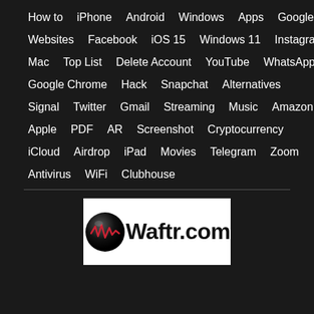How to  iPhone  Android  Windows  Apps  Google
Websites  Facebook  iOS 15  Windows 11  Instagram
Mac  Top List  Delete Account  YouTube  WhatsApp
Google Chrome  Hack  Snapchat  Alternatives
Signal  Twitter  Gmail  Streaming  Music  Amazon
Apple  PDF  AR  Screenshot  Cryptocurrency
iCloud  Airdrop  iPad  Movies  Telegram  Zoom
Antivirus  WiFi  Clubhouse
[Figure (logo): Waftr.com logo — black sphere with red waveform graphic on left, bold text 'Waftr.com' on right, on white background]